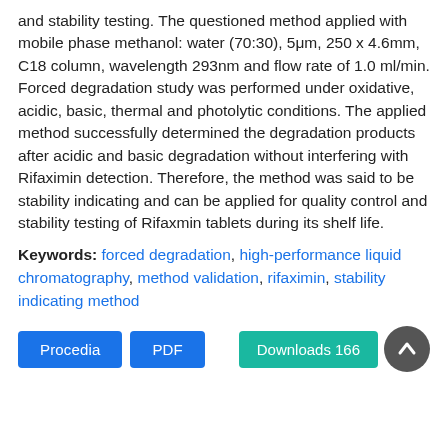and stability testing. The questioned method applied with mobile phase methanol: water (70:30), 5μm, 250 x 4.6mm, C18 column, wavelength 293nm and flow rate of 1.0 ml/min. Forced degradation study was performed under oxidative, acidic, basic, thermal and photolytic conditions. The applied method successfully determined the degradation products after acidic and basic degradation without interfering with Rifaximin detection. Therefore, the method was said to be stability indicating and can be applied for quality control and stability testing of Rifaxmin tablets during its shelf life.
Keywords: forced degradation, high-performance liquid chromatography, method validation, rifaximin, stability indicating method